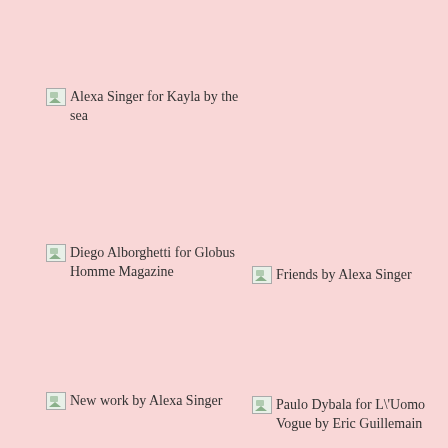[Figure (photo): Broken image placeholder for: Alexa Singer for Kayla by the sea]
[Figure (photo): Broken image placeholder for: Diego Alborghetti for Globus Homme Magazine]
[Figure (photo): Broken image placeholder for: Friends by Alexa Singer]
[Figure (photo): Broken image placeholder for: New work by Alexa Singer]
[Figure (photo): Broken image placeholder for: Paulo Dybala for L'Uomo Vogue by Eric Guillemain]